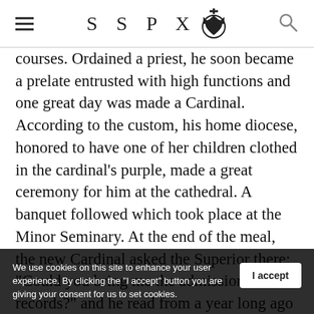SSPX [logo]
courses. Ordained a priest, he soon became a prelate entrusted with high functions and one great day was made a Cardinal. According to the custom, his home diocese, honored to have one of her children clothed in the cardinal’s purple, made a great ceremony for him at the cathedral. A banquet followed which took place at the Minor Seminary. At the end of the meal, the new Cardinal asked the Superior there: “Could you bring me the admissions records?” and he read from a year long ago forgotten: “Pizzardo, sent away for lack of a vo[cation]” [he] took out his pen and added with some humor: “And today, Cardinal of Ho[ly Mother] Church!” He was His Eminence Cardinal Pizzardo.
We use cookies on this site to enhance your user experience. By clicking the “I accept” button you are giving your consent for us to set cookies.